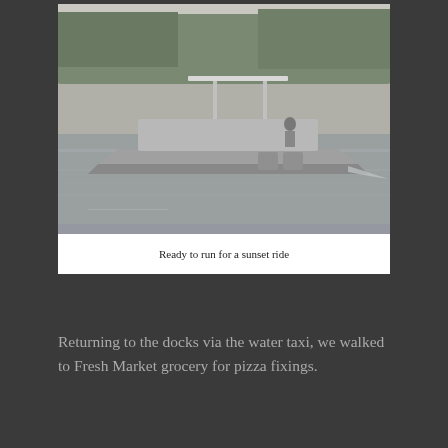[Figure (photo): A center-console motorboat on calm water with trees in the background; a person is visible on the boat. Black and white photograph.]
Ready to run for a sunset ride
Returning to the docks via the water taxi, we walked to Fresh Market grocery for pizza fixings.